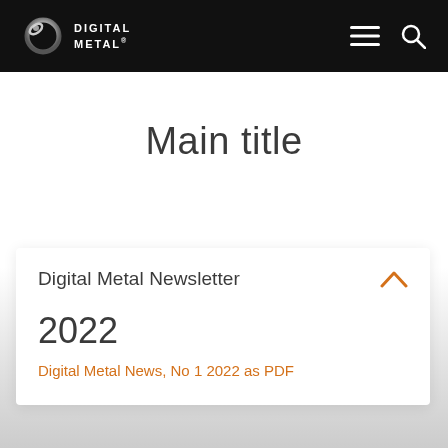DIGITAL METAL
Main title
Digital Metal Newsletter
2022
Digital Metal News, No 1 2022 as PDF